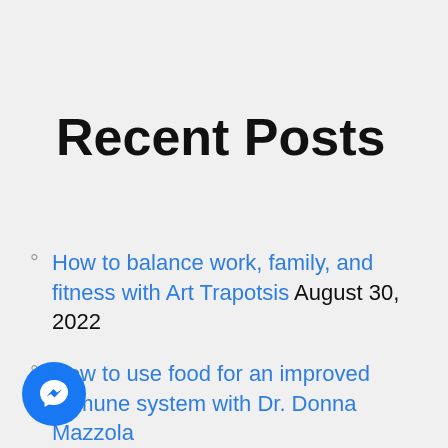Recent Posts
How to balance work, family, and fitness with Art Trapotsis August 30, 2022
How to use food for an improved immune system with Dr. Donna Mazzola August 23, 2022
[Figure (logo): Facebook Messenger blue circular button icon in bottom-left corner]